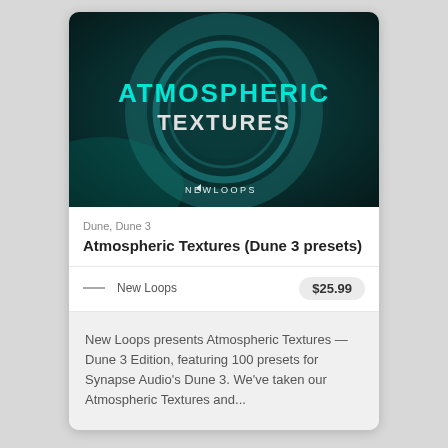[Figure (illustration): Album art for Atmospheric Textures by New Loops. Dark teal/green background with large concentric circle graphic, text 'ATMOSPHERIC TEXTURES' in cyan and white uppercase letters, New Loops logo at the bottom center.]
Dune, Dune 3
Atmospheric Textures (Dune 3 presets)
New Loops
$25.99
New Loops presents Atmospheric Textures — Dune 3 Edition, featuring 100 presets for Synapse Audio's Dune 3. We've taken our Atmospheric Textures and...